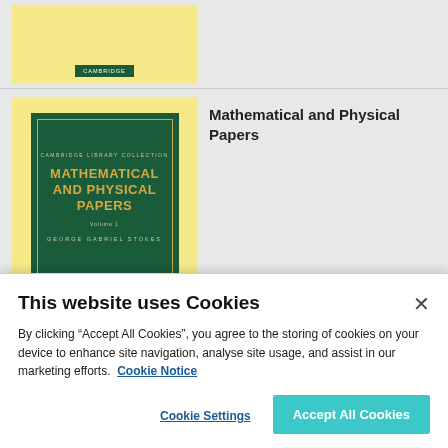[Figure (illustration): Top book listing with yellow book cover showing Cambridge badge on a light gray background]
[Figure (photo): Book cover of 'Mathematical and Physical Papers, Volume 1' by George Gabriel Stokes, Cambridge Library Collection. Green cover with gold text on yellow background.]
Mathematical and Physical Papers
This website uses Cookies
By clicking “Accept All Cookies”, you agree to the storing of cookies on your device to enhance site navigation, analyse site usage, and assist in our marketing efforts.  Cookie Notice
Cookie Settings
Accept All Cookies